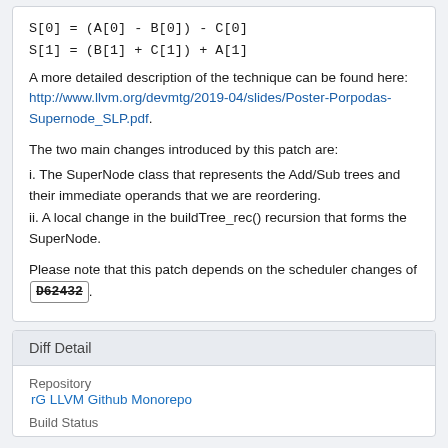A more detailed description of the technique can be found here: http://www.llvm.org/devmtg/2019-04/slides/Poster-Porpodas-Supernode_SLP.pdf.
The two main changes introduced by this patch are:
i. The SuperNode class that represents the Add/Sub trees and their immediate operands that we are reordering.
ii. A local change in the buildTree_rec() recursion that forms the SuperNode.
Please note that this patch depends on the scheduler changes of D62432.
Diff Detail
Repository
rG LLVM Github Monorepo
Build Status